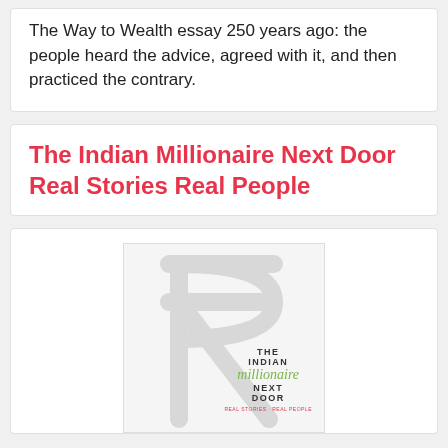The Way to Wealth essay 250 years ago: the people heard the advice, agreed with it, and then practiced the contrary.
The Indian Millionaire Next Door Real Stories Real People
[Figure (illustration): Book cover of 'The Indian Millionaire Next Door' featuring a large Indian Rupee symbol watermark in light gray on a white background, with the book title text in the lower right area. 'millionaire' is in green italic script, other title words in bold black, and a red subtitle line at the bottom.]